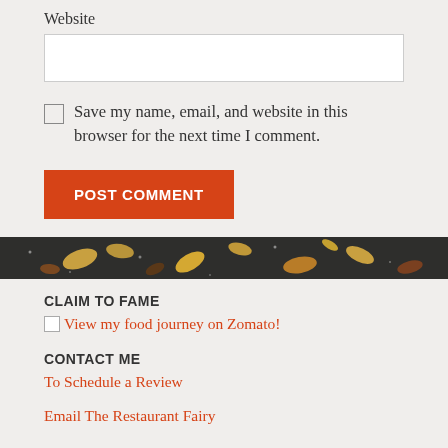Website
Save my name, email, and website in this browser for the next time I comment.
POST COMMENT
[Figure (photo): Horizontal food banner image showing nuts and seeds on a dark surface]
CLAIM TO FAME
View my food journey on Zomato!
CONTACT ME
To Schedule a Review
Email The Restaurant Fairy